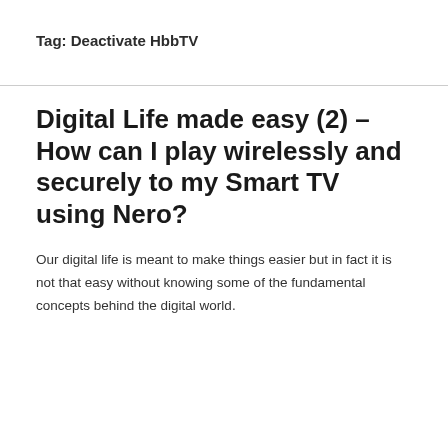Tag: Deactivate HbbTV
Digital Life made easy (2) – How can I play wirelessly and securely to my Smart TV using Nero?
Our digital life is meant to make things easier but in fact it is not that easy without knowing some of the fundamental concepts behind the digital world.